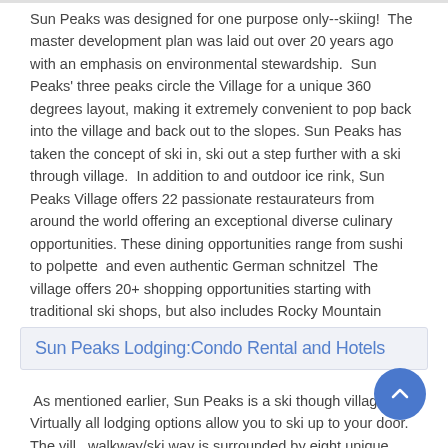Sun Peaks was designed for one purpose only--skiing!  The master development plan was laid out over 20 years ago with an emphasis on environmental stewardship.  Sun Peaks' three peaks circle the Village for a unique 360 degrees layout, making it extremely convenient to pop back into the village and back out to the slopes. Sun Peaks has taken the concept of ski in, ski out a step further with a ski through village.  In addition to and outdoor ice rink, Sun Peaks Village offers 22 passionate restaurateurs from around the world offering an exceptional diverse culinary opportunities. These dining opportunities range from sushi to polpette  and even authentic German schnitzel  The village offers 20+ shopping opportunities starting with traditional ski shops, but also includes Rocky Mountain Chocolate Factory and even a Helly Hansen and North Face outlet.
Sun Peaks Lodging:Condo Rental and Hotels
As mentioned earlier, Sun Peaks is a ski though village.  Virtually all lodging options allow you to ski up to your door.  The villa walkway/ski way is surrounded by eight unique properties. properties include the Coast Sundance Lodge, Hearthstone Lodge, Sun Peaks Lodge, Kookaburra Lodge, Fireside Lodge, Nancy